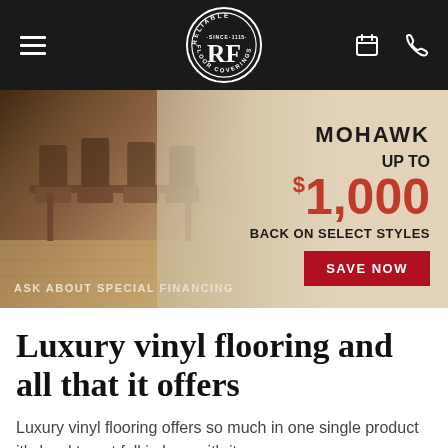[Figure (logo): Reliable Floor Coverings circular logo with RF initials, Since 1115 text, on dark navigation bar with hamburger menu, search, calendar and phone icons]
[Figure (photo): Mohawk flooring promotional banner showing dining room furniture on luxury vinyl flooring with text: MOHAWK, UP TO $1,000 BACK ON SELECT STYLES, SAVE NOW button, and ASK ABOUT SPECIAL FINANCING]
Luxury vinyl flooring and all that it offers
Luxury vinyl flooring offers so much in one single product it's hard to not fall in love with it...